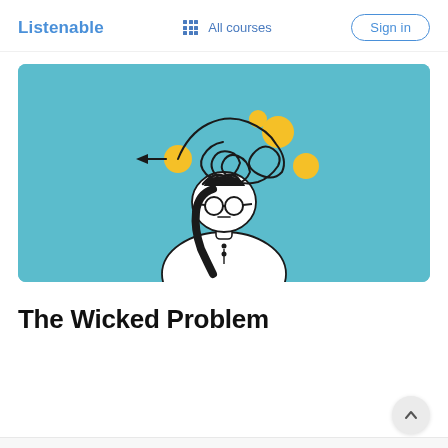Listenable   All courses   Sign in
[Figure (illustration): Illustration of a woman with round glasses and dark hair, wearing a white top, with tangled scribble lines and yellow dots above her head representing chaotic thinking or a wicked problem, on a teal/light blue background.]
The Wicked Problem